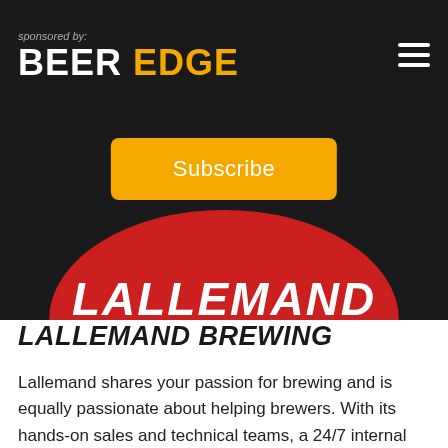BEER EDGE
sponsored by:
[Figure (logo): Lallemand red oval logo with white text 'LALLEMAND' in bold italic]
Subscribe
LALLEMAND BREWING
Lallemand shares your passion for brewing and is equally passionate about helping brewers. With its hands-on sales and technical teams, a 24/7 internal discussion channel where the teams help each other answer technical questions, R&D research trials and projects based on brewers' needs and feedback, Lallemand is the